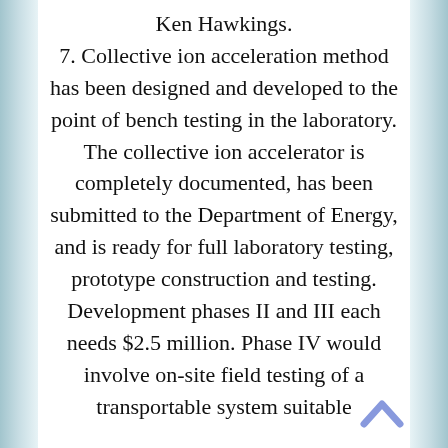Ken Hawkings. 7. Collective ion acceleration method has been designed and developed to the point of bench testing in the laboratory. The collective ion accelerator is completely documented, has been submitted to the Department of Energy, and is ready for full laboratory testing, prototype construction and testing. Development phases II and III each needs $2.5 million. Phase IV would involve on-site field testing of a transportable system suitable